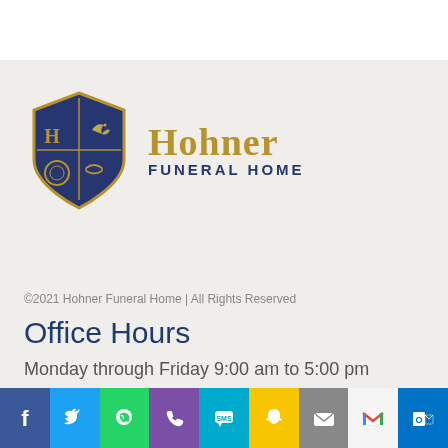[Figure (logo): Hohner Funeral Home shield logo with blue and gold colors, featuring H letter, dove, handshake, and wreath symbols. Text reads 'Hohner FUNERAL HOME']
©2021 Hohner Funeral Home | All Rights Reserved
Office Hours
Monday through Friday 9:00 am to 5:00 pm
[Figure (infographic): Social media sharing bar with Facebook, Twitter, WhatsApp, Phone, SMS, Snapchat, Email, Gmail, and Outlook icons]